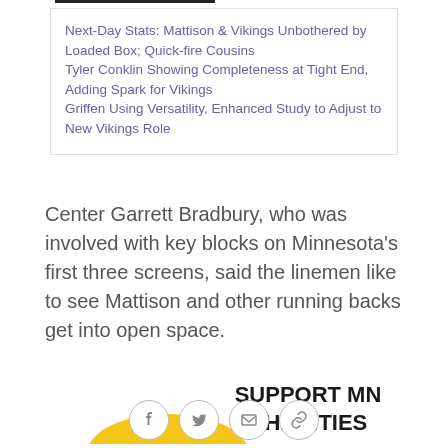Next-Day Stats: Mattison & Vikings Unbothered by Loaded Box; Quick-fire Cousins
Tyler Conklin Showing Completeness at Tight End, Adding Spark for Vikings
Griffen Using Versatility, Enhanced Study to Adjust to New Vikings Role
Center Garrett Bradbury, who was involved with key blocks on Minnesota's first three screens, said the linemen like to see Mattison and other running backs get into open space.
[Figure (infographic): SUPPORT MN CHARITIES banner with yellow arc graphic]
[Figure (infographic): Social sharing buttons: Facebook, Twitter, Email, Link]